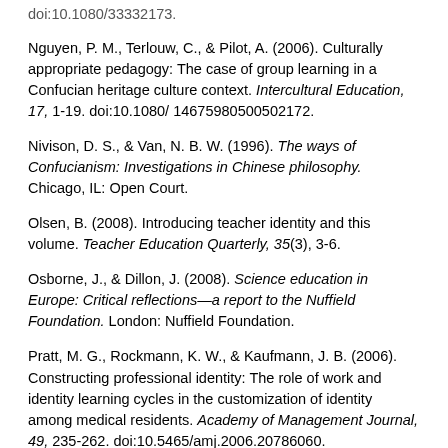doi:10.1080/33332173. [truncated top]
Nguyen, P. M., Terlouw, C., & Pilot, A. (2006). Culturally appropriate pedagogy: The case of group learning in a Confucian heritage culture context. Intercultural Education, 17, 1-19. doi:10.1080/ 14675980500502172.
Nivison, D. S., & Van, N. B. W. (1996). The ways of Confucianism: Investigations in Chinese philosophy. Chicago, IL: Open Court.
Olsen, B. (2008). Introducing teacher identity and this volume. Teacher Education Quarterly, 35(3), 3-6.
Osborne, J., & Dillon, J. (2008). Science education in Europe: Critical reflections—a report to the Nuffield Foundation. London: Nuffield Foundation.
Pratt, M. G., Rockmann, K. W., & Kaufmann, J. B. (2006). Constructing professional identity: The role of work and identity learning cycles in the customization of identity among medical residents. Academy of Management Journal, 49, 235-262. doi:10.5465/amj.2006.20786060.
Rao, N., & Chan, C. K. K. (2009). Moving beyond [truncated]